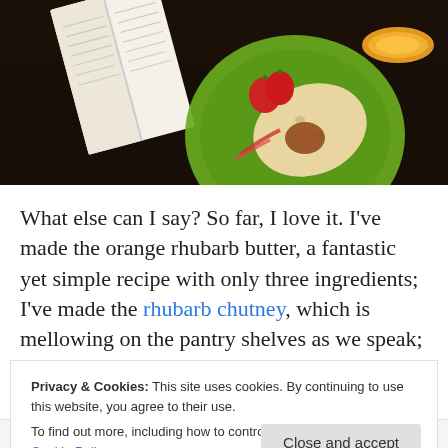[Figure (photo): Overhead/top-down photo of a dark wooden table with an open book, a green plate with bread, strawberries and jam/butter, and a glass of orange juice in the upper right corner.]
What else can I say? So far, I love it. I've made the orange rhubarb butter, a fantastic yet simple recipe with only three ingredients; I've made the rhubarb chutney, which is mellowing on the pantry shelves as we speak; and I've put sticky notes on at least a dozen more. I've learned a few
Privacy & Cookies: This site uses cookies. By continuing to use this website, you agree to their use.
To find out more, including how to control cookies, see here: Cookie Policy
Close and accept